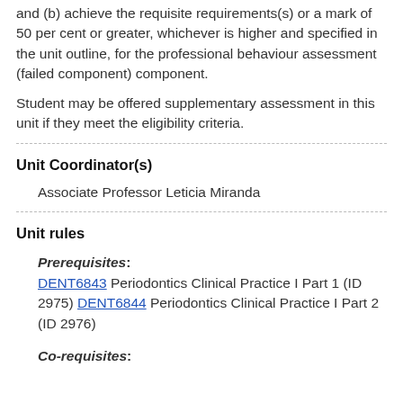and (b) achieve the requisite requirements(s) or a mark of 50 per cent or greater, whichever is higher and specified in the unit outline, for the professional behaviour assessment (failed component) component.
Student may be offered supplementary assessment in this unit if they meet the eligibility criteria.
Unit Coordinator(s)
Associate Professor Leticia Miranda
Unit rules
Prerequisites: DENT6843 Periodontics Clinical Practice I Part 1 (ID 2975) DENT6844 Periodontics Clinical Practice I Part 2 (ID 2976)
Co-requisites: